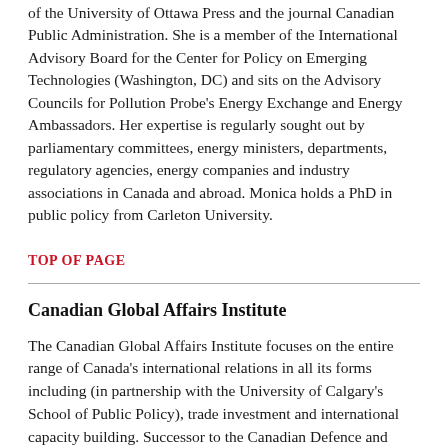of the University of Ottawa Press and the journal Canadian Public Administration. She is a member of the International Advisory Board for the Center for Policy on Emerging Technologies (Washington, DC) and sits on the Advisory Councils for Pollution Probe's Energy Exchange and Energy Ambassadors. Her expertise is regularly sought out by parliamentary committees, energy ministers, departments, regulatory agencies, energy companies and industry associations in Canada and abroad. Monica holds a PhD in public policy from Carleton University.
TOP OF PAGE
Canadian Global Affairs Institute
The Canadian Global Affairs Institute focuses on the entire range of Canada's international relations in all its forms including (in partnership with the University of Calgary's School of Public Policy), trade investment and international capacity building. Successor to the Canadian Defence and